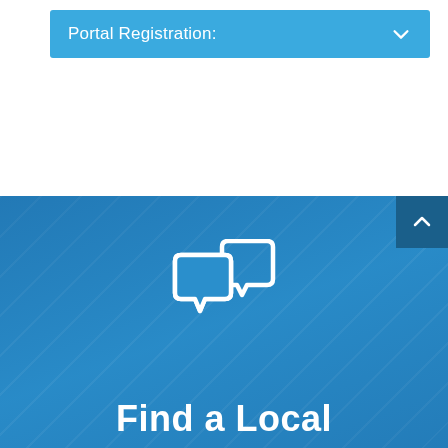Portal Registration:
[Figure (illustration): Two white speech bubble chat icons overlapping on a blue background]
Find a Local